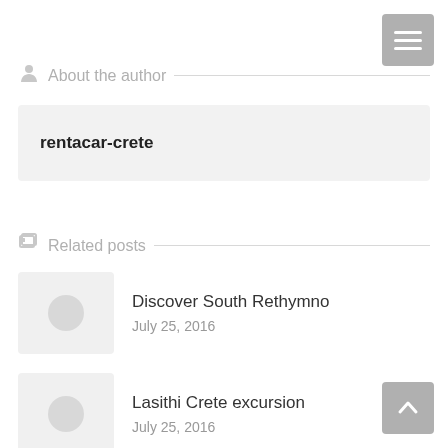[Figure (other): Hamburger menu button, grey, top right corner]
About the author
rentacar-crete
Related posts
Discover South Rethymno
July 25, 2016
Lasithi Crete excursion
July 25, 2016
[Figure (other): Back to top arrow button, grey, bottom right corner]